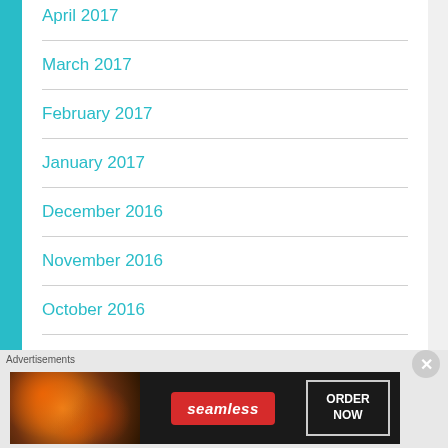April 2017
March 2017
February 2017
January 2017
December 2016
November 2016
October 2016
September 2016
Advertisements
[Figure (screenshot): Seamless food delivery advertisement banner with pizza image, Seamless logo in red, and ORDER NOW button]